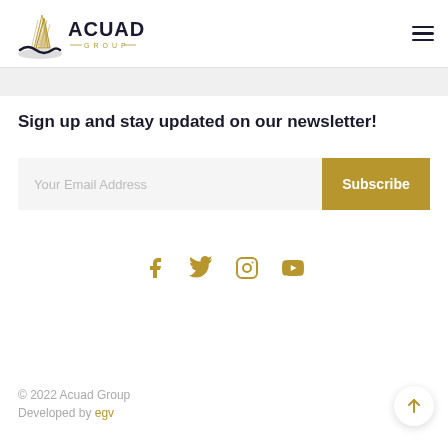[Figure (logo): Acuad Group logo with stylized building/sail icon in navy and gold, text 'ACUAD GROUP']
Sign up and stay updated on our newsletter!
[Figure (other): Email input field with placeholder 'Your Email Address' and a gold Subscribe button]
[Figure (other): Social media icons: Facebook, Twitter, Instagram, YouTube in gold color]
© 2022 Acuad Group
Developed by egv